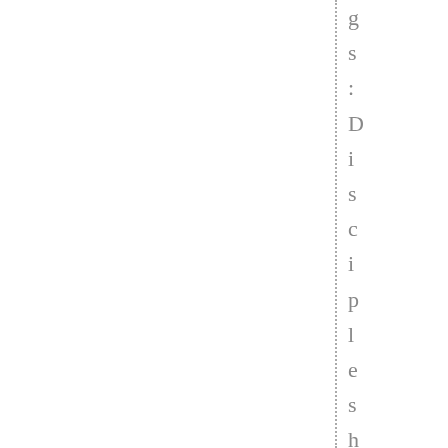gs: Discipleship, filters, l
[Figure (other): Vertical dotted line dividing the page]